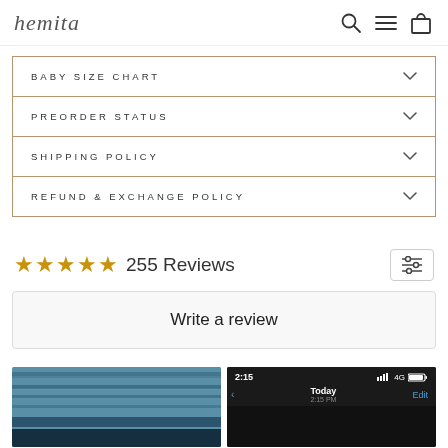hemita
BABY SIZE CHART
PREORDER STATUS
SHIPPING POLICY
REFUND & EXCHANGE POLICY
255 Reviews
Write a review
[Figure (photo): Two photo thumbnails: left shows outdoor structure with blue-gray roof, right shows a smartphone screen at 2:15 PM showing Today navigation]
[Figure (screenshot): Smartphone screenshot showing 2:15 PM, 4G signal, Today date with Edit button]